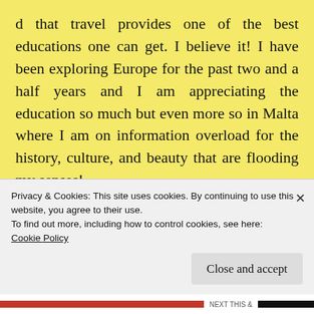d that travel provides one of the best educations one can get. I believe it! I have been exploring Europe for the past two and a half years and I am appreciating the education so much but even more so in Malta where I am on information overload for the history, culture, and beauty that are flooding my senses!
The Mediterranean Sea frames life in the
Privacy & Cookies: This site uses cookies. By continuing to use this website, you agree to their use.
To find out more, including how to control cookies, see here:
Cookie Policy
Close and accept